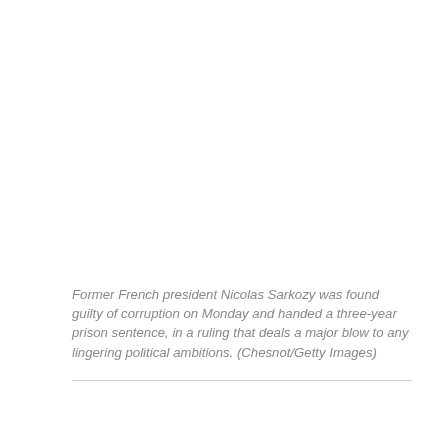[Figure (photo): Photograph area (blank/white in this rendering) occupying the upper portion of the page]
Former French president Nicolas Sarkozy was found guilty of corruption on Monday and handed a three-year prison sentence, in a ruling that deals a major blow to any lingering political ambitions. (Chesnot/Getty Images)